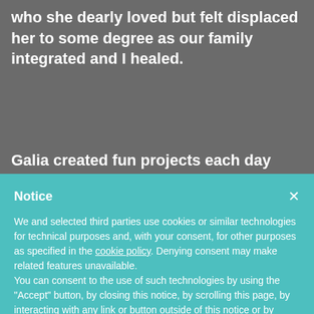who she dearly loved but felt displaced her to some degree as our family integrated and I healed.
Galia created fun projects each day which our daughter
Notice
We and selected third parties use cookies or similar technologies for technical purposes and, with your consent, for other purposes as specified in the cookie policy. Denying consent may make related features unavailable.
You can consent to the use of such technologies by using the "Accept" button, by closing this notice, by scrolling this page, by interacting with any link or button outside of this notice or by continuing to browse otherwise.
Accept
Learn more and customize